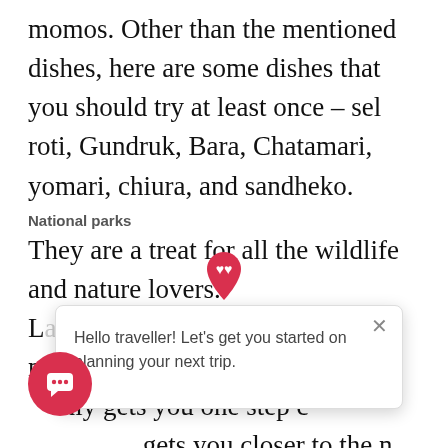momos. Other than the mentioned dishes, here are some dishes that you should try at least once – sel roti, Gundruk, Bara, Chatamari, yomari, chiura, and sandheko.
National parks
They are a treat for all the wildlife and nature lovers.
Langtang national park is the first national park of t... only gets you one step c... gets you closer to the n... surreal national park consists of the catchments – the Trisuli & Sun Kosi rivers.
[Figure (screenshot): Popup tooltip overlay with heart/pin icon and text: Hello traveller! Let's get you started on planning your next trip. With a close (×) button.]
Second famous national park is Sagarmatha